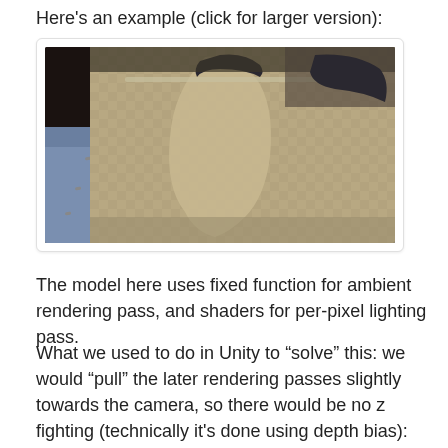Here's an example (click for larger version):
[Figure (screenshot): 3D rendered interior scene of what appears to be a train or subway car interior, showing patterned seat backs and handrails, rendered in sepia/brownish tones with some blue visible on the left side.]
The model here uses fixed function for ambient rendering pass, and shaders for per-pixel lighting pass.
What we used to do in Unity to “solve” this: we would “pull” the later rendering passes slightly towards the camera, so there would be no z fighting (technically it’s done using depth bias):